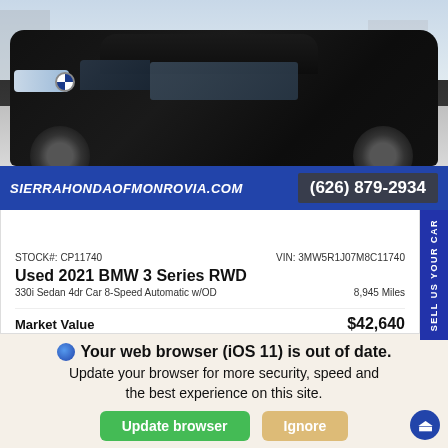[Figure (photo): Black BMW 3 Series sedan parked in a lot, viewed from front-side angle. Dealer overlay bar at bottom showing website and phone number.]
SIERRAHONDAOFMONROVIA.COM
(626) 879-2934
STOCK#: CP11740
VIN: 3MW5R1J07M8C11740
Used 2021 BMW 3 Series RWD
330i Sedan 4dr Car 8-Speed Automatic w/OD
8,945 Miles
Market Value   $42,640
Sale Price   $39,959
Your web browser (iOS 11) is out of date. Update your browser for more security, speed and the best experience on this site.
Update browser
Ignore